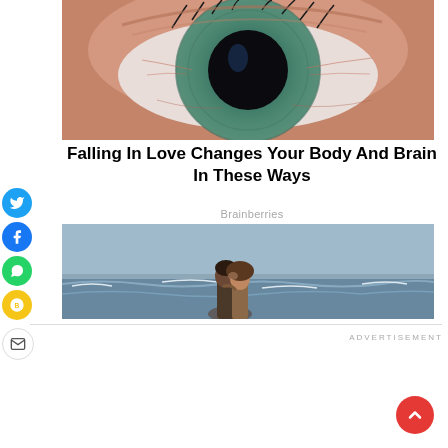[Figure (photo): Close-up macro photo of a human eye with blue-green iris and large dark pupil, with visible veins in the white of the eye]
Falling In Love Changes Your Body And Brain In These Ways
Brainberries
[Figure (photo): Couple kissing on a beach with ocean waves and grey sky in the background]
ADVERTISEMENT